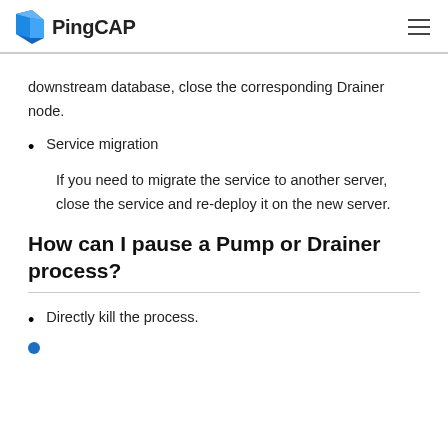PingCAP
downstream database, close the corresponding Drainer node.
Service migration
If you need to migrate the service to another server, close the service and re-deploy it on the new server.
How can I pause a Pump or Drainer process?
Directly kill the process.